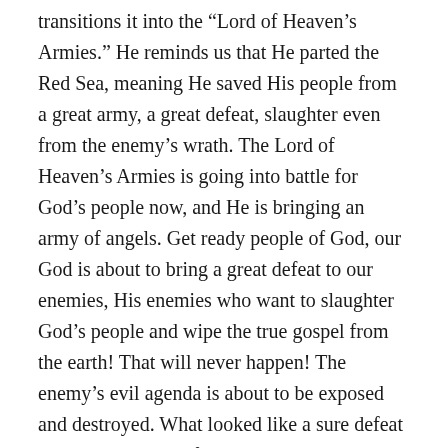transitions it into the "Lord of Heaven's Armies." He reminds us that He parted the Red Sea, meaning He saved His people from a great army, a great defeat, slaughter even from the enemy's wrath. The Lord of Heaven's Armies is going into battle for God's people now, and He is bringing an army of angels. Get ready people of God, our God is about to bring a great defeat to our enemies, His enemies who want to slaughter God's people and wipe the true gospel from the earth! That will never happen! The enemy's evil agenda is about to be exposed and destroyed. What looked like a sure defeat then, became one of the greatest victories in all of history; God's victory! And the same powerful God will and is bringing victory now!
Then, He reminded us that He split the rock and poured out water to a thirsty people, a nation and their flocks, which was their welfare. Pouring out; God is pouring out